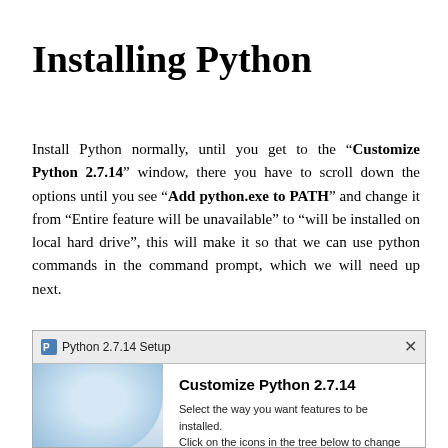Installing Python
Install Python normally, until you get to the “Customize Python 2.7.14” window, there you have to scroll down the options until you see “Add python.exe to PATH” and change it from “Entire feature will be unavailable” to “will be installed on local hard drive”, this will make it so that we can use python commands in the command prompt, which we will need up next.
[Figure (screenshot): Python 2.7.14 Setup dialog window showing 'Customize Python 2.7.14' screen with text: Select the way you want features to be installed. Click on the icons in the tree below to change the way features will be installed.]